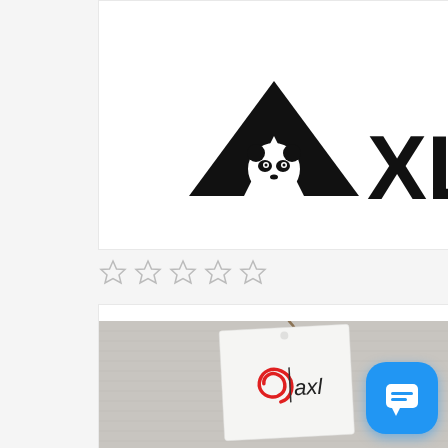[Figure (logo): AXL brand logo — black triangle with a panda face peeking from the center bottom, followed by bold letters XL]
[Figure (other): Five star rating icons (outlined/empty stars, light gray color)]
[Figure (photo): Product photo of a white clothing hang tag with a red spiral logo and 'axl' text, lying on a gray textile background, with a twine string attached]
[Figure (other): Blue rounded square chat/messaging button with a speech bubble icon in the bottom right corner]